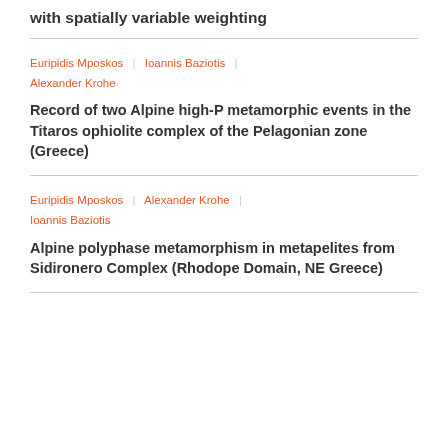with spatially variable weighting
Euripidis Mposkos | Ioannis Baziotis | Alexander Krohe
Record of two Alpine high-P metamorphic events in the Titaros ophiolite complex of the Pelagonian zone (Greece)
Euripidis Mposkos | Alexander Krohe | Ioannis Baziotis
Alpine polyphase metamorphism in metapelites from Sidironero Complex (Rhodope Domain, NE Greece)